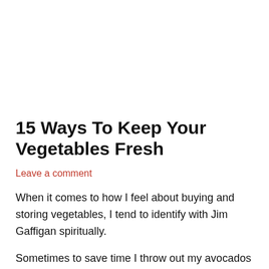15 Ways To Keep Your Vegetables Fresh
Leave a comment
When it comes to how I feel about buying and storing vegetables, I tend to identify with Jim Gaffigan spiritually.
Sometimes to save time I throw out my avocados out at the grocery store.
— Jim Gaffigan (@JimGaffigan) November 6, 2012